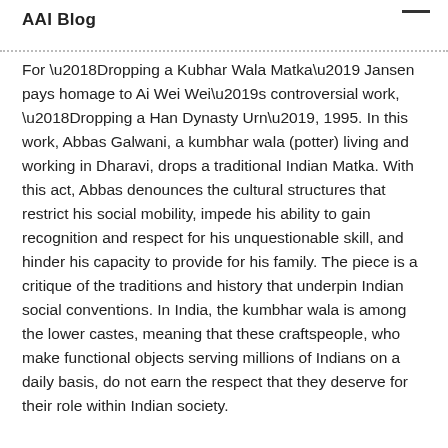AAI Blog
For ‘Dropping a Kubhar Wala Matka’ Jansen pays homage to Ai Wei Wei’s controversial work, ‘Dropping a Han Dynasty Urn’, 1995. In this work, Abbas Galwani, a kumbhar wala (potter) living and working in Dharavi, drops a traditional Indian Matka. With this act, Abbas denounces the cultural structures that restrict his social mobility, impede his ability to gain recognition and respect for his unquestionable skill, and hinder his capacity to provide for his family. The piece is a critique of the traditions and history that underpin Indian social conventions. In India, the kumbhar wala is among the lower castes, meaning that these craftspeople, who make functional objects serving millions of Indians on a daily basis, do not earn the respect that they deserve for their role within Indian society.